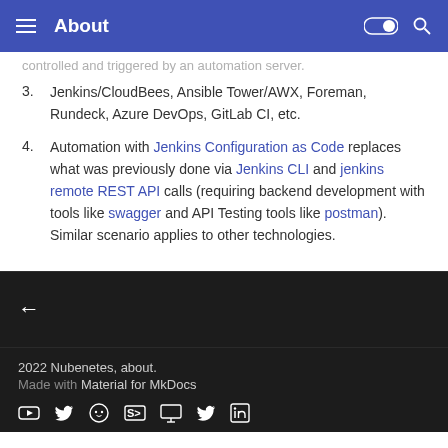About
controlled and triggered by an automation server.
3. Jenkins/CloudBees, Ansible Tower/AWX, Foreman, Rundeck, Azure DevOps, GitLab CI, etc.
4. Automation with Jenkins Configuration as Code replaces what was previously done via Jenkins CLI and jenkins remote REST API calls (requiring backend development with tools like swagger and API Testing tools like postman). Similar scenario applies to other technologies.
2022 Nubenetes, about. Made with Material for MkDocs